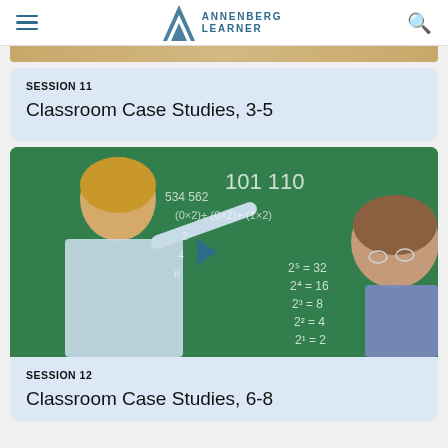Annenberg Learner
[Figure (photo): Cropped bottom edge of an image, showing a tan/golden strip]
SESSION 11
Classroom Case Studies, 3-5
[Figure (photo): A female teacher pointing at a green chalkboard with math equations and binary numbers (101, 110), powers of 2 (2^5=32, 2^4=16, 2^3=8, 2^2=4, 2^1=2). A student with glasses watches from the right.]
SESSION 12
Classroom Case Studies, 6-8